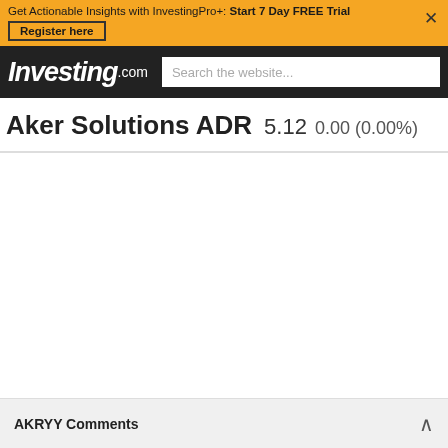Get Actionable Insights with InvestingPro+: Start 7 Day FREE Trial  Register here
Investing.com  Search the website...
Aker Solutions ADR  5.12  0.00 (0.00%)
AKRYY Comments